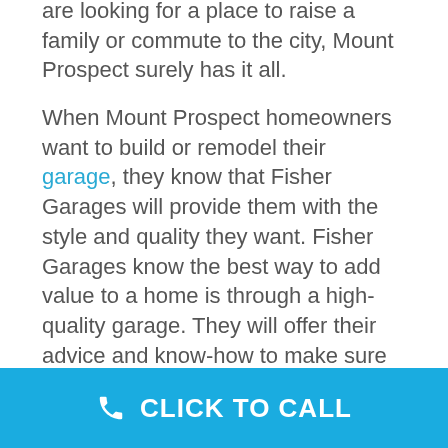are looking for a place to raise a family or commute to the city, Mount Prospect surely has it all.
When Mount Prospect homeowners want to build or remodel their garage, they know that Fisher Garages will provide them with the style and quality they want. Fisher Garages know the best way to add value to a home is through a high-quality garage. They will offer their advice and know-how to make sure the project is done right, with the result being a Mount Prospect garage that works for you–and
CLICK TO CALL